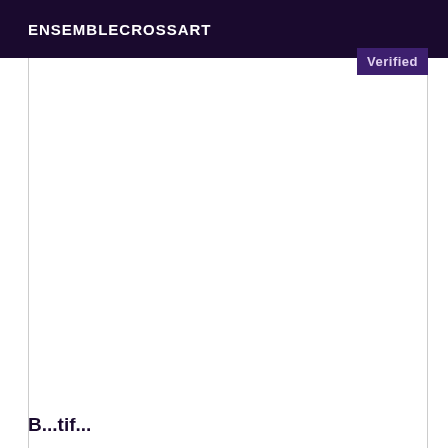ENSEMBLECROSSART
Verified
B...tif...